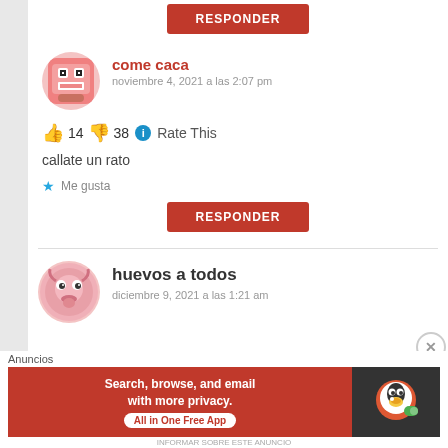[Figure (other): Red RESPONDER button at top]
[Figure (other): Avatar for user 'come caca' - pixelated face emoji on pink square]
come caca
noviembre 4, 2021 a las 2:07 pm
👍 14 👎 38 ℹ Rate This
callate un rato
★ Me gusta
[Figure (other): Red RESPONDER button]
[Figure (other): Avatar for user 'huevos a todos' - pink sad face emoji]
huevos a todos
diciembre 9, 2021 a las 1:21 am
Anuncios
[Figure (other): DuckDuckGo advertisement banner - Search, browse, and email with more privacy. All in One Free App]